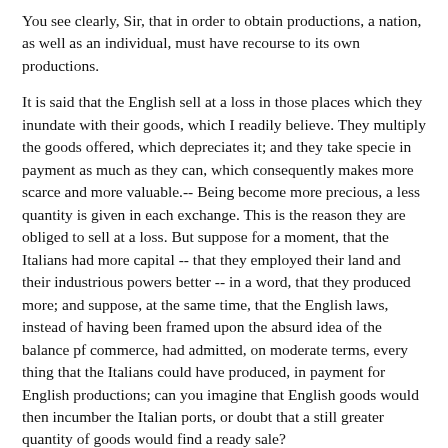You see clearly, Sir, that in order to obtain productions, a nation, as well as an individual, must have recourse to its own productions.
It is said that the English sell at a loss in those places which they inundate with their goods, which I readily believe. They multiply the goods offered, which depreciates it; and they take specie in payment as much as they can, which consequently makes more scarce and more valuable.-- Being become more precious, a less quantity is given in each exchange. This is the reason they are obliged to sell at a loss. But suppose for a moment, that the Italians had more capital -- that they employed their land and their industrious powers better -- in a word, that they produced more; and suppose, at the same time, that the English laws, instead of having been framed upon the absurd idea of the balance pf commerce, had admitted, on moderate terms, every thing that the Italians could have produced, in payment for English productions; can you imagine that English goods would then incumber the Italian ports, or doubt that a still greater quantity of goods would find a ready sale?
The Brazils, a vast country, highly favored by nature, could consume a hundred times the English goods which accumulate there, and don't sell; but it would be necessary that Brazil should produce all that it is capable of producing; and how is this poor Brazil to succeed in this? All the efforts of her citizens are